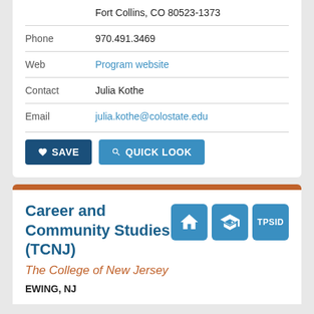| Field | Value |
| --- | --- |
| Phone | 970.491.3469 |
| Web | Program website |
| Contact | Julia Kothe |
| Email | julia.kothe@colostate.edu |
SAVE
QUICK LOOK
Career and Community Studies (TCNJ)
The College of New Jersey
EWING, NJ